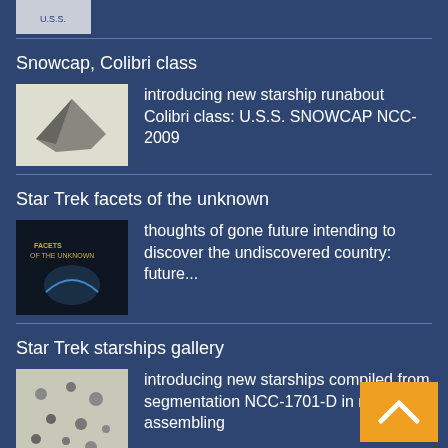[Figure (photo): Partial thumbnail image of U.S.S. ship at top of page]
Snowcap, Colibri class
introducing new starship runabout Colibri class: U.S.S. SNOWCAP NCC-2009
Star Trek facets of the unknown
thoughts of gone future intending to discover the undiscovered country: future...
Star Trek starships gallery
introducing new starships compiled from segmentation NCC-1701-D in re-assembling
Star Trek starships synopsis (alphabetically)
digest table of SigmaTau fleet © by Axel Culm